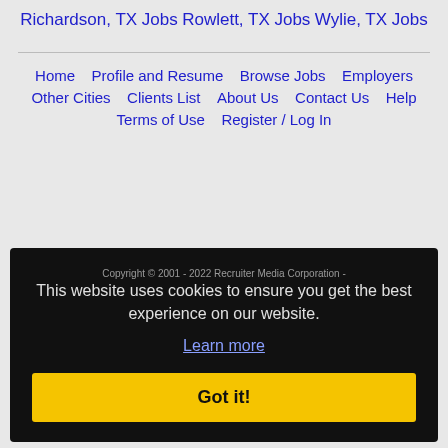Richardson, TX Jobs
Rowlett, TX Jobs
Wylie, TX Jobs
Home  Profile and Resume  Browse Jobs  Employers  Other Cities  Clients List  About Us  Contact Us  Help  Terms of Use  Register / Log In
Copyright © 2001 - 2022 Recruiter Media Corporation - All Jobs listed
This website uses cookies to ensure you get the best experience on our website.
Learn more
Got it!